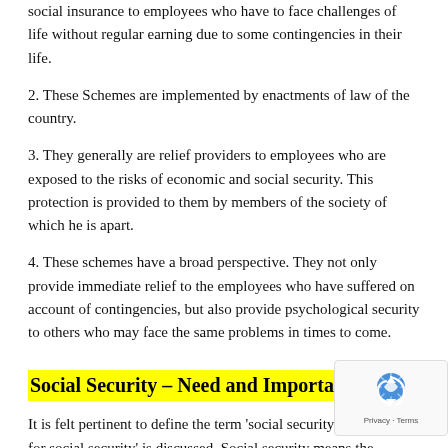social insurance to employees who have to face challenges of life without regular earning due to some contingencies in their life.
2. These Schemes are implemented by enactments of law of the country.
3. They generally are relief providers to employees who are exposed to the risks of economic and social security. This protection is provided to them by members of the society of which he is apart.
4. These schemes have a broad perspective. They not only provide immediate relief to the employees who have suffered on account of contingencies, but also provide psychological security to others who may face the same problems in times to come.
Social Security – Need and Importance
It is felt pertinent to define the term 'social security' before need for social security' is discussed. Social security means the